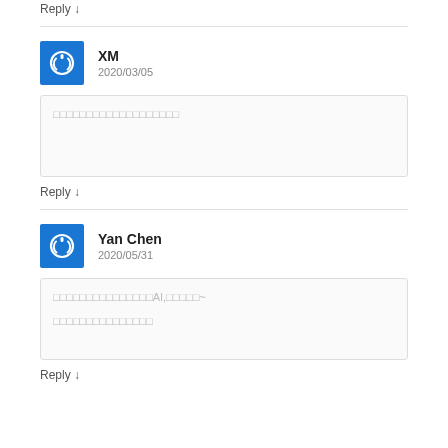Reply ↓
XM
2020/03/05
□□□□□□□□□□□□□□□□□□□
Reply ↓
Yan Chen
2020/05/31
□□□□□□□□□□□□□□□AI,□□□□□~
□□□□□□□□□□□□□□□
Reply ↓